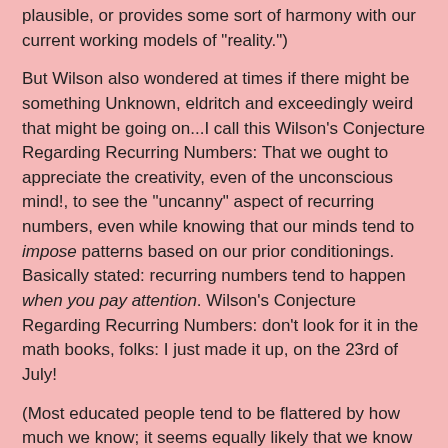plausible, or provides some sort of harmony with our current working models of "reality.")
But Wilson also wondered at times if there might be something Unknown, eldritch and exceedingly weird that might be going on...I call this Wilson's Conjecture Regarding Recurring Numbers: That we ought to appreciate the creativity, even of the unconscious mind!, to see the "uncanny" aspect of recurring numbers, even while knowing that our minds tend to impose patterns based on our prior conditionings. Basically stated: recurring numbers tend to happen when you pay attention. Wilson's Conjecture Regarding Recurring Numbers: don't look for it in the math books, folks: I just made it up, on the 23rd of July!
(Most educated people tend to be flattered by how much we know; it seems equally likely that we know closer to 1% of what there is to be known, rather than the idea that we know about 99% of the Possible Knowable. This too is conjecture...For a book of dialogues with great scientific minds on this topic, see John Horgan's The End of Science .)